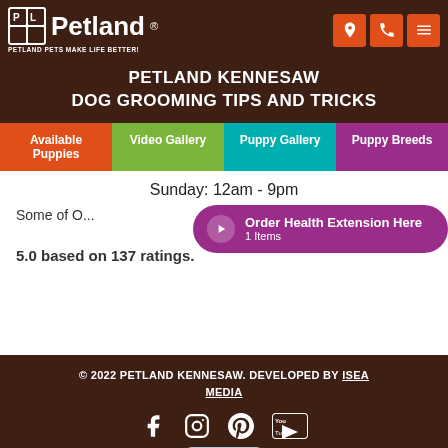Petland - Petland Pets Make Life Better!
PETLAND KENNESAW
DOG GROOMING TIPS AND TRICKS
Available Puppies
Video Gallery
Puppy Gallery
Puppy Breeds
Sunday: 12am - 9pm
Some of O...
[Figure (infographic): Purple pill-shaped banner: Order Health Extension Here, 1 Items]
5.0 based on 137 ratings.
© 2022 PETLAND KENNESAW. DEVELOPED BY ISEA MEDIA
[Figure (infographic): Social media icons: Facebook, Instagram, Pinterest, YouTube]
Need Help?